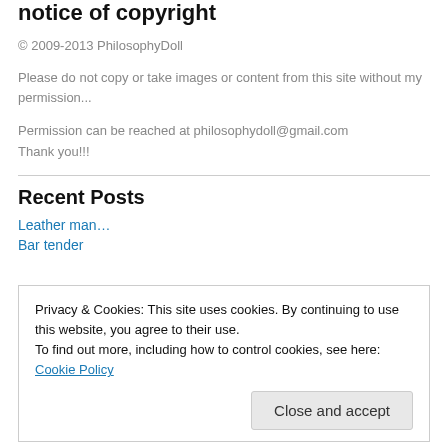notice of copyright
© 2009-2013 PhilosophyDoll
Please do not copy or take images or content from this site without my permission...
Permission can be reached at philosophydoll@gmail.com
Thank you!!!
Recent Posts
Leather man…
Bar tender
Privacy & Cookies: This site uses cookies. By continuing to use this website, you agree to their use.
To find out more, including how to control cookies, see here: Cookie Policy
Close and accept